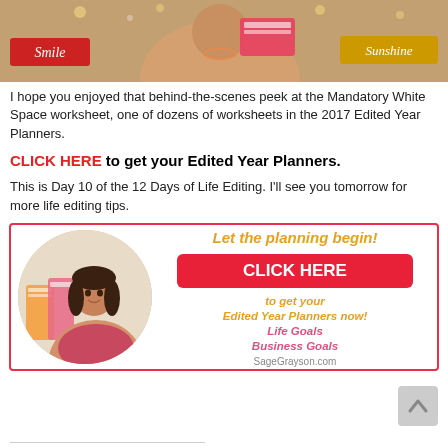[Figure (photo): Woman holding a planner/notebook, with shelf decorations showing 'Smile' and 'Sunshine' signs in background]
I hope you enjoyed that behind-the-scenes peek at the Mandatory White Space worksheet, one of dozens of worksheets in the 2017 Edited Year Planners.
CLICK HERE to get your Edited Year Planners.
This is Day 10 of the 12 Days of Life Editing. I'll see you tomorrow for more life editing tips.
[Figure (infographic): Advertisement box with circular photo of woman with planners, text 'Let the planning begin!', red CLICK HERE button, 'to get your Edited Year Planners now! Life Goals Business Goals', and SageGrayson.com URL]